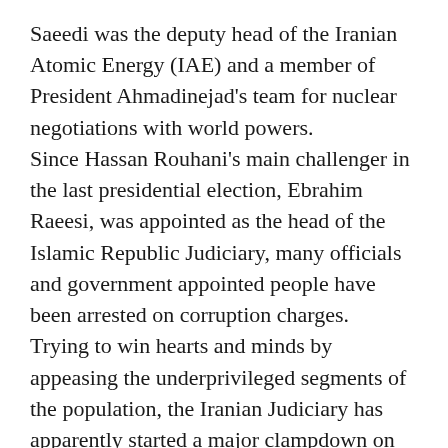Saeedi was the deputy head of the Iranian Atomic Energy (IAE) and a member of President Ahmadinejad's team for nuclear negotiations with world powers.
Since Hassan Rouhani's main challenger in the last presidential election, Ebrahim Raeesi, was appointed as the head of the Islamic Republic Judiciary, many officials and government appointed people have been arrested on corruption charges.
Trying to win hearts and minds by appeasing the underprivileged segments of the population, the Iranian Judiciary has apparently started a major clampdown on financial corruption, and several cases are being investigated in courts.
So far, the majority of the suspects convicted for financial corruption have been either close allies of